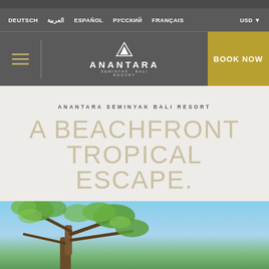Top navigation bar (cropped)
DEUTSCH  العربية  ESPAÑOL  РУССКИЙ  FRANÇAIS  USD
ANANTARA SEMINYAK BALI RESORT  BOOK NOW
ANANTARA SEMINYAK BALI RESORT
A BEACHFRONT TROPICAL ESCAPE.
[Figure (photo): Tropical tree branches with green leaves against a blue sky, partial view of a resort outdoor scene]